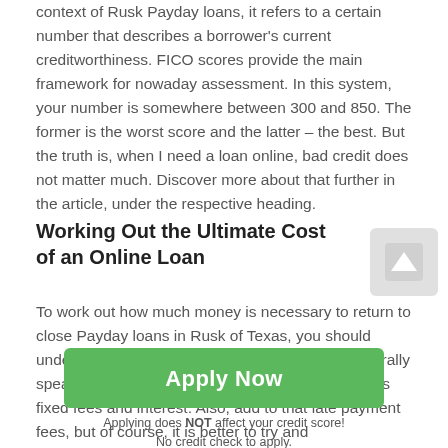context of Rusk Payday loans, it refers to a certain number that describes a borrower's current creditworthiness. FICO scores provide the main framework for nowaday assessment. In this system, your number is somewhere between 300 and 850. The former is the worst score and the latter – the best. But the truth is, when I need a loan online, bad credit does not matter much. Discover more about that further in the article, under the respective heading.
Working Out the Ultimate Cost of an Online Loan
To work out how much money is necessary to return to close Payday loans in Rusk of Texas, you should understand the constituents of the final cost. Generally speaking, it is made up of the borrowed money plus fixed fees and interest. Also, add to that late payment fees, but of course, it is better to try and
[Figure (other): Green 'Apply Now' button with text 'Applying does NOT affect your credit score! No credit check to apply.' below it]